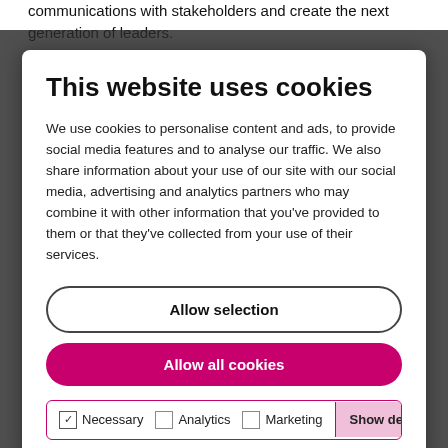communications with stakeholders and create the next generation of leaders.
[Figure (screenshot): Cookie consent modal overlay with title 'This website uses cookies', body text about cookie usage, 'Allow selection' and 'Allow all cookies' buttons, and checkbox options for Necessary, Analytics, Marketing with a Show details button.]
Re-evaluate your hiring budget
While the amount set aside to fund hiring new staff may be more or less fixed, as a business grows you can benefit from re-evaluating the hiring budget at any stage. Thi...